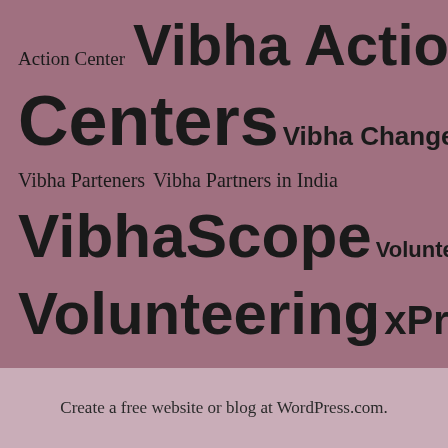Action Center  Vibha Action
Centers  Vibha Change Makers
Vibha Parteners   Vibha Partners in India
VibhaScope  Volunteer Highlight
Volunteering  xPressions
Create a free website or blog at WordPress.com.